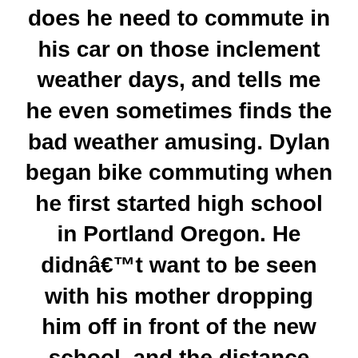does he need to commute in his car on those inclement weather days, and tells me he even sometimes finds the bad weather amusing. Dylan began bike commuting when he first started high school in Portland Oregon. He didn’t want to be seen with his mother dropping him off in front of the new school, and the distance being too great for walking he decided to start biking. “Portland is a pinnacle of bicycle culture,"